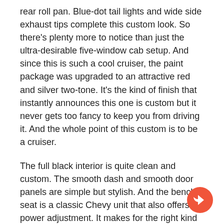rear roll pan. Blue-dot tail lights and wide side exhaust tips complete this custom look. So there's plenty more to notice than just the ultra-desirable five-window cab setup. And since this is such a cool cruiser, the paint package was upgraded to an attractive red and silver two-tone. It's the kind of finish that instantly announces this one is custom but it never gets too fancy to keep you from driving it. And the whole point of this custom is to be a cruiser.
The full black interior is quite clean and custom. The smooth dash and smooth door panels are simple but stylish. And the bench seat is a classic Chevy unit that also offers power adjustment. It makes for the right kind of driver-ready package. And that feeling continues with the right upgrades like a sports steering wheel, a tilt column, and bright white backlit Auto Meter gauges dominating the dash.
The engine bay has an attractive and tidy style with
[Figure (other): Circular orange share/forward button icon in the bottom right corner]